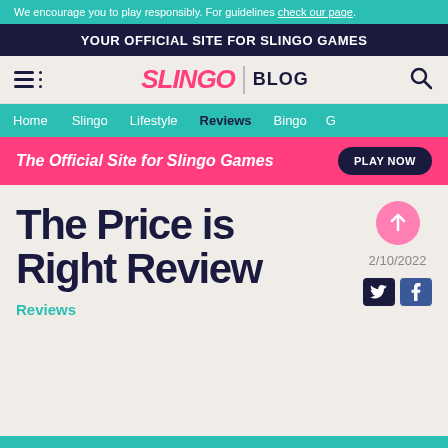We encourage you to play responsibly. For guidelines check our page.
YOUR OFFICIAL SITE FOR SLINGO GAMES
[Figure (logo): Slingo Blog logo with hamburger menu and search icon]
Home  Slingo  Lifestyle  Reviews  Bingo  G
The Official Site for Slingo Games  PLAY NOW
The Price is Right Review
Reviews
2/10/2022